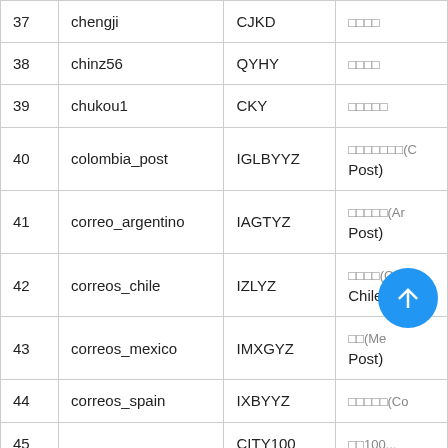| # | Name | Code | Description |
| --- | --- | --- | --- |
| 37 | chengji | CJKD | □□□□ |
| 38 | chinz56 | QYHY | □□□□ |
| 39 | chukou1 | CKY | □□□□□ |
| 40 | colombia_post | IGLBYYZ | □□□□□□□(Colombia Post) |
| 41 | correo_argentino | IAGTYZ | □□□□□(Argentina Post) |
| 42 | correos_chile | IZLYZ | □□□□(Correos Chile) |
| 43 | correos_mexico | IMXGYZ | □□(Mexico Post) |
| 44 | correos_spain | IXBYYZ | □□□□□(Co... |
| 45 | co... | CITY100 | □□100... |